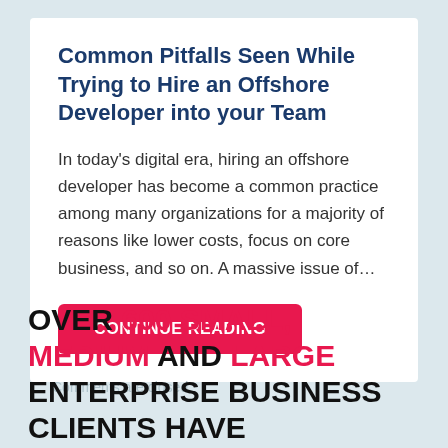Common Pitfalls Seen While Trying to Hire an Offshore Developer into your Team
In today's digital era, hiring an offshore developer has become a common practice among many organizations for a majority of reasons like lower costs, focus on core business, and so on. A massive issue of…
CONTINUE READING
Comments are closed.
OVER 600 SMALL, MEDIUM AND LARGE ENTERPRISE BUSINESS CLIENTS HAVE